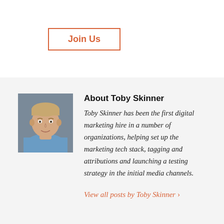Join Us
[Figure (photo): Headshot photo of Toby Skinner, a young man in a blue shirt, smiling at camera]
About Toby Skinner
Toby Skinner has been the first digital marketing hire in a number of organizations, helping set up the marketing tech stack, tagging and attributions and launching a testing strategy in the initial media channels.
View all posts by Toby Skinner >